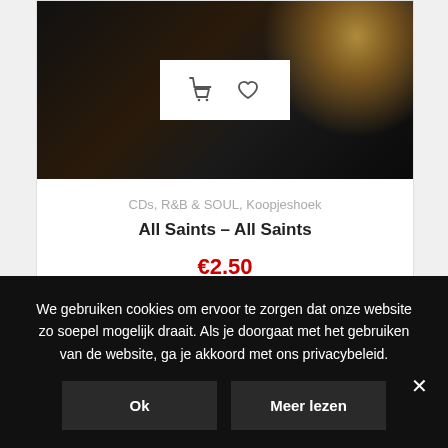[Figure (photo): Product image of All Saints album cover showing band members in dark scene with blonde hair visible]
CDs, R&B & SOUL, Koopjeshoek
All Saints – All Saints
€2.50
We gebruiken cookies om ervoor te zorgen dat onze website zo soepel mogelijk draait. Als je doorgaat met het gebruiken van de website, ga je akkoord met ons privacybeleid.
Ok
Meer lezen